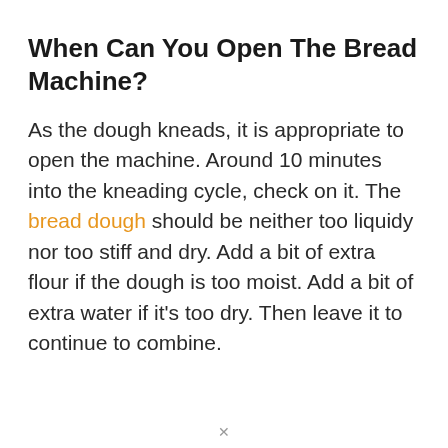When Can You Open The Bread Machine?
As the dough kneads, it is appropriate to open the machine. Around 10 minutes into the kneading cycle, check on it. The bread dough should be neither too liquidy nor too stiff and dry. Add a bit of extra flour if the dough is too moist. Add a bit of extra water if it's too dry. Then leave it to continue to combine.